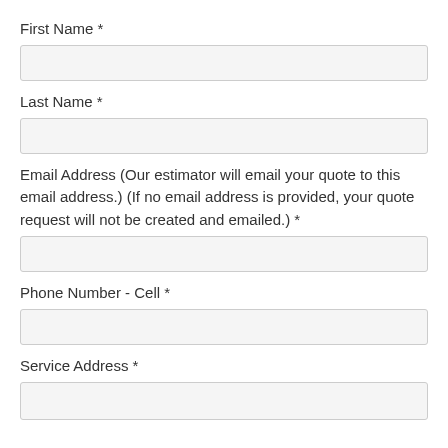First Name *
Last Name *
Email Address (Our estimator will email your quote to this email address.) (If no email address is provided, your quote request will not be created and emailed.) *
Phone Number - Cell *
Service Address *